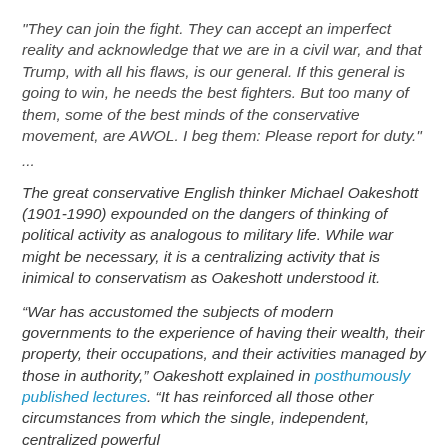"They can join the fight. They can accept an imperfect reality and acknowledge that we are in a civil war, and that Trump, with all his flaws, is our general. If this general is going to win, he needs the best fighters. But too many of them, some of the best minds of the conservative movement, are AWOL. I beg them: Please report for duty."
...
The great conservative English thinker Michael Oakeshott (1901-1990) expounded on the dangers of thinking of political activity as analogous to military life. While war might be necessary, it is a centralizing activity that is inimical to conservatism as Oakeshott understood it.
“War has accustomed the subjects of modern governments to the experience of having their wealth, their property, their occupations, and their activities managed by those in authority,” Oakeshott explained in posthumously published lectures. “It has reinforced all those other circumstances from which the single, independent, centralized powerful